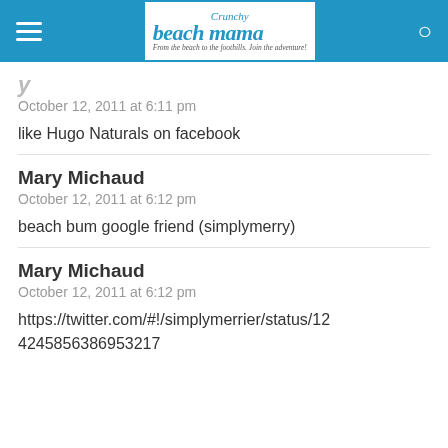Crunchy Beach Mama — From the beach to the foothills. Join the adventure!
October 12, 2011 at 6:11 pm
like Hugo Naturals on facebook
Mary Michaud
October 12, 2011 at 6:12 pm
beach bum google friend (simplymerry)
Mary Michaud
October 12, 2011 at 6:12 pm
https://twitter.com/#!/simplymerrier/status/124245856386953217